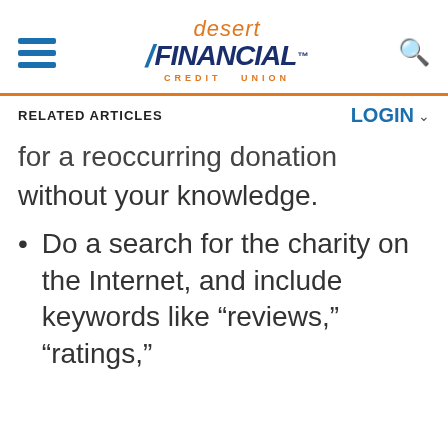[Figure (logo): Desert Financial Credit Union logo with hamburger menu and search icon]
RELATED ARTICLES
LOGIN
for a reoccurring donation without your knowledge.
Do a search for the charity on the Internet, and include keywords like “reviews,” “ratings,”